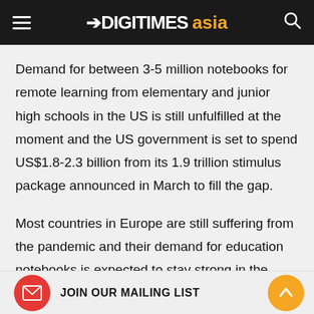DIGITIMES asia
Demand for between 3-5 million notebooks for remote learning from elementary and junior high schools in the US is still unfulfilled at the moment and the US government is set to spend US$1.8-2.3 billion from its 1.9 trillion stimulus package announced in March to fill the gap.
Most countries in Europe are still suffering from the pandemic and their demand for education notebooks is expected to stay strong in the second quarter.
Many countries i... are suffering fro... start placing large-scale procurement orders for...